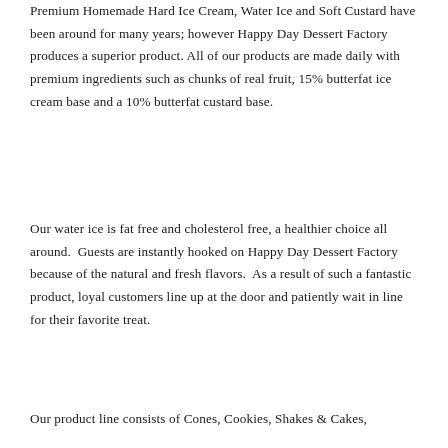Premium Homemade Hard Ice Cream, Water Ice and Soft Custard have been around for many years; however Happy Day Dessert Factory produces a superior product. All of our products are made daily with premium ingredients such as chunks of real fruit, 15% butterfat ice cream base and a 10% butterfat custard base.
Our water ice is fat free and cholesterol free, a healthier choice all around.  Guests are instantly hooked on Happy Day Dessert Factory because of the natural and fresh flavors.  As a result of such a fantastic product, loyal customers line up at the door and patiently wait in line for their favorite treat.
Our product line consists of Cones, Cookies, Shakes & Cakes,